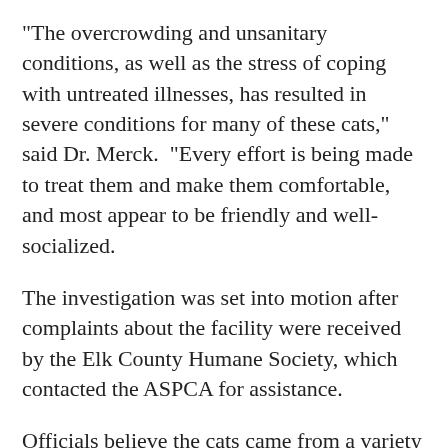"The overcrowding and unsanitary conditions, as well as the stress of coping with untreated illnesses, has resulted in severe conditions for many of these cats," said Dr. Merck.  "Every effort is being made to treat them and make them comfortable, and most appear to be friendly and well-socialized.
The investigation was set into motion after complaints about the facility were received by the Elk County Humane Society, which contacted the ASPCA for assistance.
Officials believe the cats came from a variety of sources.
Animal Friends is a non-profit 501(c)(3)